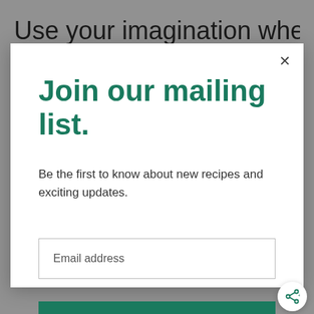Use your imagination when coming up
Join our mailing list.
Be the first to know about new recipes and exciting updates.
Email address
Subscribe